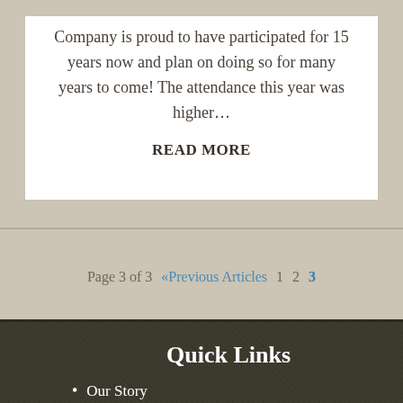Company is proud to have participated for 15 years now and plan on doing so for many years to come! The attendance this year was higher… READ MORE
Page 3 of 3   «Previous Articles   1   2   3
Quick Links
Our Story
List With Us
Buyer Specialist